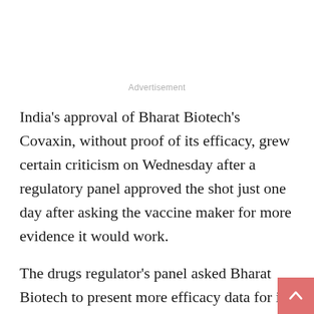Advertisement
India's approval of Bharat Biotech's Covaxin, without proof of its efficacy, grew certain criticism on Wednesday after a regulatory panel approved the shot just one day after asking the vaccine maker for more evidence it would work.
The drugs regulator's panel asked Bharat Biotech to present more efficacy data for its COVID-19 shot before it could consider approving the treatment.